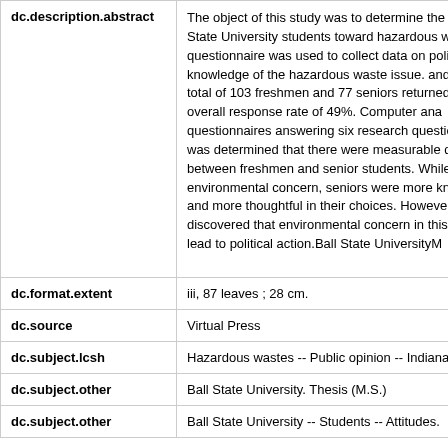| Field | Value |
| --- | --- |
| dc.description.abstract | The object of this study was to determine the cu... State University students toward hazardous wa... questionnaire was used to collect data on polito... knowledge of the hazardous waste issue. and e... total of 103 freshmen and 77 seniors returned u... an overall response rate of 49%. Computer ana... questionnaires answering six research question... It was determined that there were measurable d... between freshmen and senior students. While b... environmental concern, seniors were more kno... and more thoughtful in their choices. However, s... discovered that environmental concern in this s... not lead to political action.Ball State UniversityM... |
| dc.format.extent | iii, 87 leaves ; 28 cm. |
| dc.source | Virtual Press |
| dc.subject.lcsh | Hazardous wastes -- Public opinion -- Indiana. |
| dc.subject.other | Ball State University. Thesis (M.S.) |
| dc.subject.other | Ball State University -- Students -- Attitudes. |